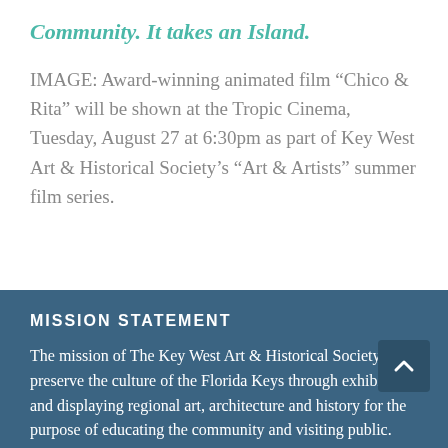Community.  It takes an Island.
IMAGE: Award-winning animated film “Chico & Rita” will be shown at the Tropic Cinema, Tuesday, August 27 at 6:30pm as part of Key West Art & Historical Society’s “Art & Artists” summer film series.
MISSION STATEMENT
The mission of The Key West Art & Historical Society is to preserve the culture of the Florida Keys through exhibiting and displaying regional art, architecture and history for the purpose of educating the community and visiting public.